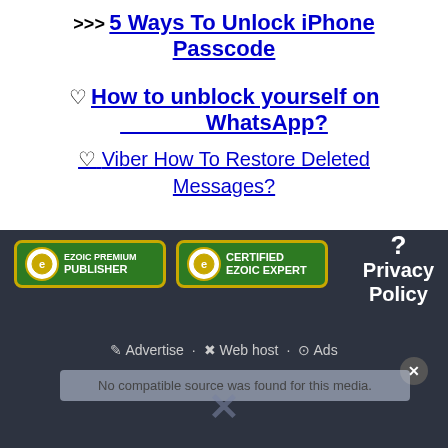>>> 5 Ways To Unlock iPhone Passcode
♡ How to unblock yourself on WhatsApp?
♡ Viber How To Restore Deleted Messages?
[Figure (logo): Ezoic Premium Publisher badge and Certified Ezoic Expert badge]
? Privacy Policy
✎ Advertise   ✖ Web host   ⊙ Ads
No compatible source was found for this media.